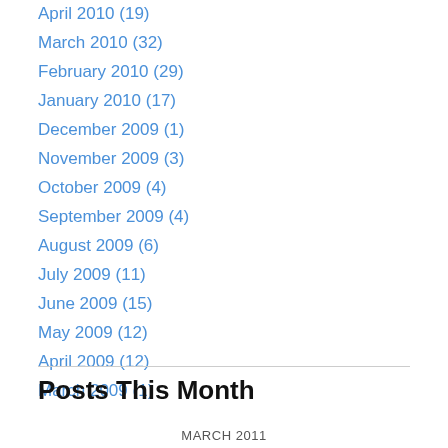April 2010 (19)
March 2010 (32)
February 2010 (29)
January 2010 (17)
December 2009 (1)
November 2009 (3)
October 2009 (4)
September 2009 (4)
August 2009 (6)
July 2009 (11)
June 2009 (15)
May 2009 (12)
April 2009 (12)
March 2009 (1)
Posts This Month
MARCH 2011